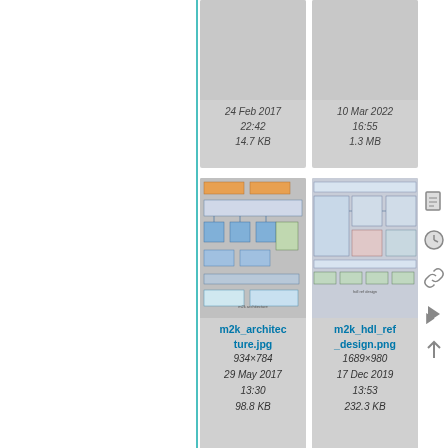[Figure (screenshot): File browser / media gallery grid showing engineering design file thumbnails. Top row partially visible: two cards with dates '24 Feb 2017 22:42 / 14.7 KB' and '10 Mar 2022 16:55 / 1.3 MB'. Middle row: m2k_architecture.jpg (schematic thumbnail, 934×784, 29 May 2017 13:30, 98.8 KB) and m2k_hdl_ref_design.png (schematic thumbnail, 1689×980, 17 Dec 2019 13:53, 232.3 KB). Bottom row partially visible: blank file icon card and a chart/table thumbnail.]